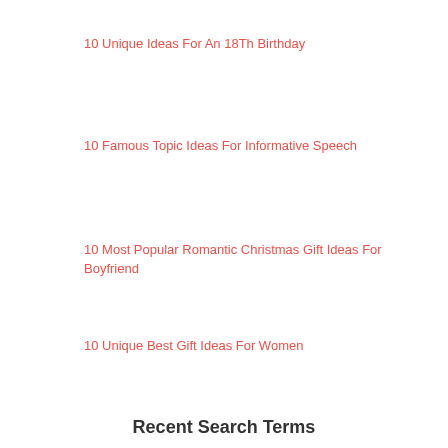10 Unique Ideas For An 18Th Birthday
10 Famous Topic Ideas For Informative Speech
10 Most Popular Romantic Christmas Gift Ideas For Boyfriend
10 Unique Best Gift Ideas For Women
Recent Search Terms